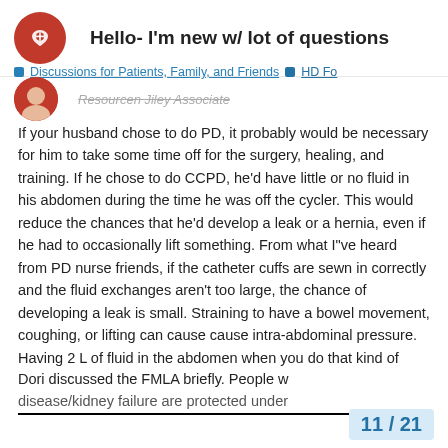Hello- I'm new w/ lot of questions
Discussions for Patients, Family, and Friends  HD Fo
Resourcen Jiley Associate
If your husband chose to do PD, it probably would be necessary for him to take some time off for the surgery, healing, and training. If he chose to do CCPD, he'd have little or no fluid in his abdomen during the time he was off the cycler. This would reduce the chances that he'd develop a leak or a hernia, even if he had to occasionally lift something. From what I"ve heard from PD nurse friends, if the catheter cuffs are sewn in correctly and the fluid exchanges aren't too large, the chance of developing a leak is small. Straining to have a bowel movement, coughing, or lifting can cause cause intra-abdominal pressure. Having 2 L of fluid in the abdomen when you do that kind of straining can theoretically cause a hernia. However, from what I've read of research in PD, hernia and leaking is much more likely with CAPD than with CCPD and some people are more prone to hernias than others.
Dori discussed the FMLA briefly. People w... disease/kidney failure are protected under...
11 / 21